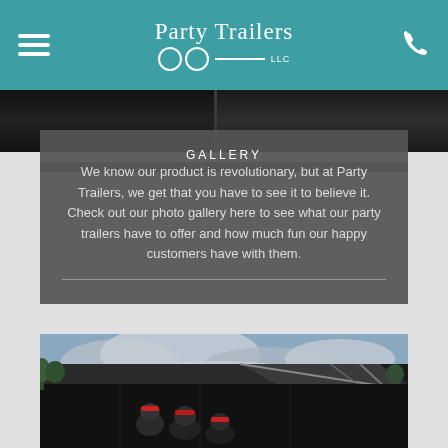Party Trailers LLC
[Figure (photo): Top dark strip showing interior of a party trailer with lights]
GALLERY
We know our product is revolutionary, but at Party Trailers, we get that you have to see it to believe it. Check out our photo gallery here to see what our party trailers have to offer and how much fun our happy customers have with them.
[Figure (photo): Outdoor photo showing people in red hats near a large black party trailer with an open awning/ramp, cloudy sky background]